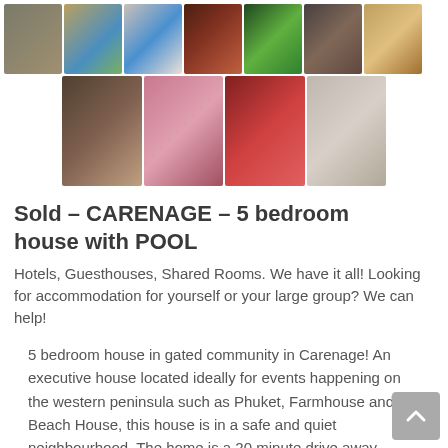[Figure (photo): Photo gallery grid showing a 5-bedroom house with pool. Top row: 7 thumbnail photos of exterior, pool, interior rooms. Bottom row: 4 thumbnail photos of bedrooms and bathroom.]
Sold – CARENAGE – 5 bedroom house with POOL
Hotels, Guesthouses, Shared Rooms. We have it all! Looking for accommodation for yourself or your large group? We can help!
5 bedroom house in gated community in Carenage! An executive house located ideally for events happening on the western peninsula such as Phuket, Farmhouse and Beach House, this house is in a safe and quiet neighbourhood. The home is a 20 minute drive away from Port of Spain, and a 5 minute drive from Chaguaramas and is perfect for large groups who would like to entertain those staying in the...